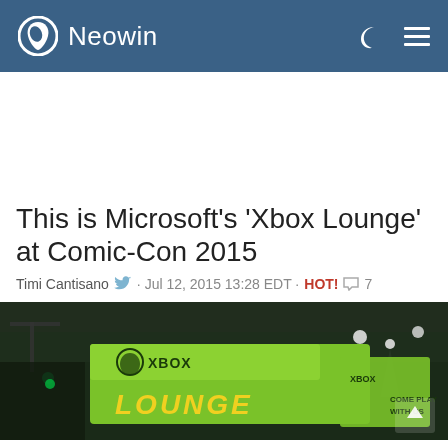Neowin
[Figure (photo): Xbox Lounge banner at Comic-Con 2015 — green hanging sign with Xbox logo and 'LOUNGE' text in yellow letters, dark convention hall ceiling with lights visible]
This is Microsoft's 'Xbox Lounge' at Comic-Con 2015
Timi Cantisano · Jul 12, 2015 13:28 EDT · HOT! · 7